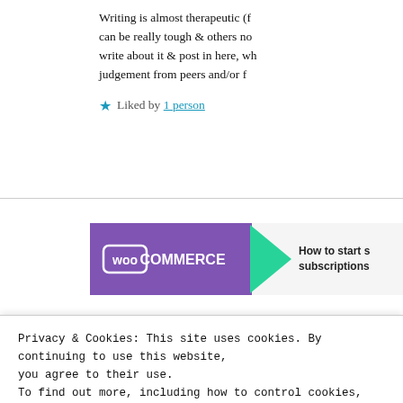Writing is almost therapeutic (f... can be really tough & others no... write about it & post in here, wh... judgement from peers and/or f...
Liked by 1 person
[Figure (logo): WooCommerce ad banner with purple logo box and green arrow, text: How to start s... subscriptions...]
Sparsha Mishra says:
Privacy & Cookies: This site uses cookies. By continuing to use this website, you agree to their use.
To find out more, including how to control cookies, see here: Cookie Policy
Close and accept